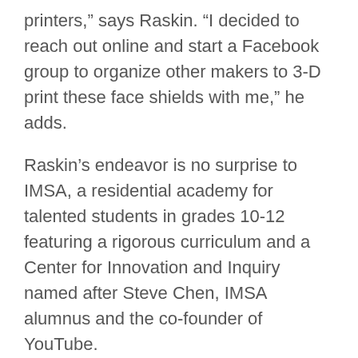printers,” says Raskin. “I decided to reach out online and start a Facebook group to organize other makers to 3-D print these face shields with me,” he adds.
Raskin’s endeavor is no surprise to IMSA, a residential academy for talented students in grades 10-12 featuring a rigorous curriculum and a Center for Innovation and Inquiry named after Steve Chen, IMSA alumnus and the co-founder of YouTube.
“Levi is one of our MakerSquad leaders and spends a great deal of time and energy in our makerspace using 3D printers and assisting his peers with projects,” says Adewole Abiowe, a member of IMSA’s innovation center staff who works closely with Raskin.